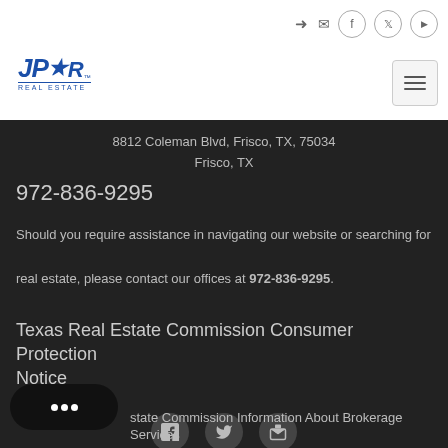[Figure (logo): JPAR Real Estate logo - blue text]
8812 Coleman Blvd, Frisco, TX, 75034
Frisco, TX
972-836-9295
Should you require assistance in navigating our website or searching for real estate, please contact our offices at 972-836-9295.
Texas Real Estate Commission Consumer Protection Notice
Texas Real Estate Commission Information About Brokerage Services